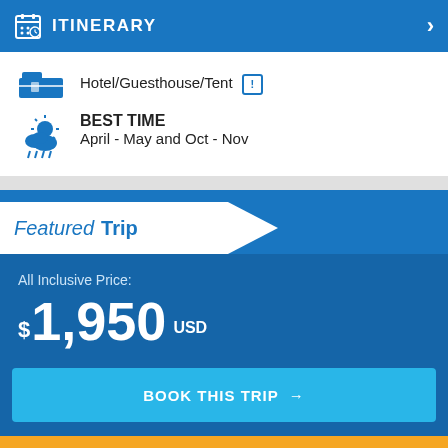ITINERARY
Hotel/Guesthouse/Tent
BEST TIME
April - May and Oct - Nov
Featured Trip
All Inclusive Price:
$1,950 USD
BOOK THIS TRIP →